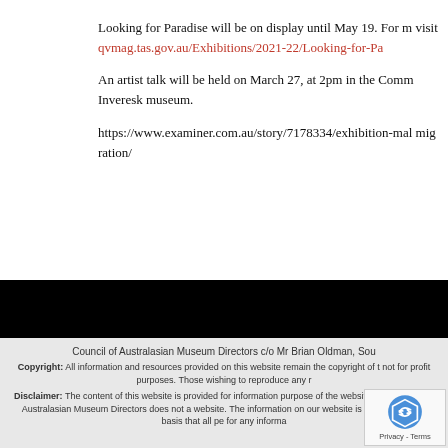Looking for Paradise will be on display until May 19. For m visit qvmag.tas.gov.au/Exhibitions/2021-22/Looking-for-Pa
An artist talk will be held on March 27, at 2pm in the Comm Inveresk museum.
https://www.examiner.com.au/story/7178334/exhibition-mal migration/
Council of Australasian Museum Directors c/o Mr Brian Oldman, Sou
Copyright: All information and resources provided on this website remain the copyright of t not for profit purposes. Those wishing to reproduce any r
Disclaimer: The content of this website is provided for information purpose of the website. The Council of Australasian Museum Directors does not a website. The information on our website is provided on the basis that all pe for any informa